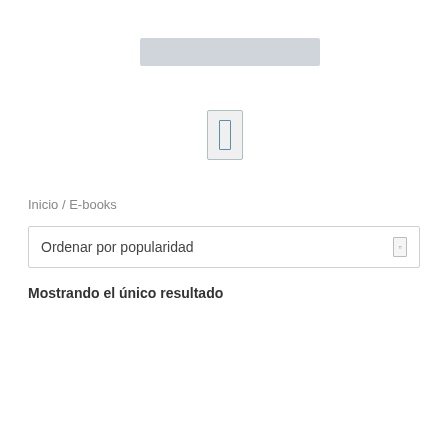[Figure (other): Gray placeholder header bar]
[Figure (other): Small icon box with blue rectangle inside, resembling a mobile/document icon]
Inicio / E-books
Ordenar por popularidad
Mostrando el único resultado
[Figure (other): Product card placeholder (gray rectangle) with a pink/magenta ¡OFERTA! badge in the upper right corner]